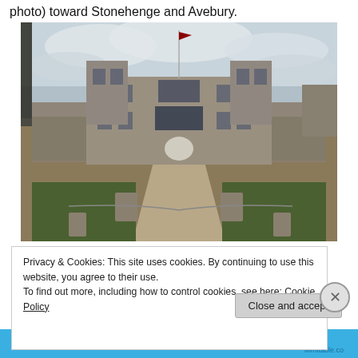photo) toward Stonehenge and Avebury.
[Figure (photo): Photograph of a large historic English country house or manor, viewed from the front along a gravel driveway flanked by grass lawns and stone posts. Trees and formal hedging line the front of the building. A flag flies from the central rooftop. The sky is overcast.]
Privacy & Cookies: This site uses cookies. By continuing to use this website, you agree to their use.
To find out more, including how to control cookies, see here: Cookie Policy
Close and accept